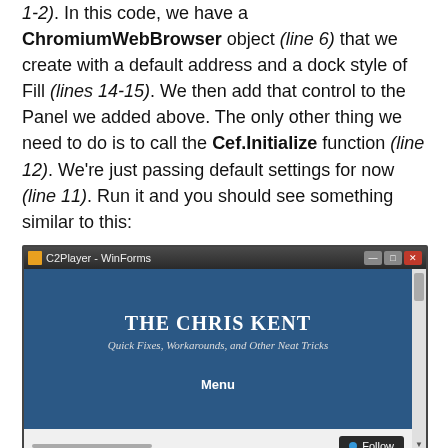1-2). In this code, we have a ChromiumWebBrowser object (line 6) that we create with a default address and a dock style of Fill (lines 14-15). We then add that control to the Panel we added above. The only other thing we need to do is to call the Cef.Initialize function (line 12). We're just passing default settings for now (line 11). Run it and you should see something similar to this:
[Figure (screenshot): A Windows Forms application window titled 'C2Player - WinForms' showing a browser with 'THE CHRIS KENT' website displayed, with subtitle 'Quick Fixes, Workarounds, and Other Neat Tricks' and a Menu link. A Follow button is visible at the bottom right.]
Congratulations, you've got Chrome in your Form!